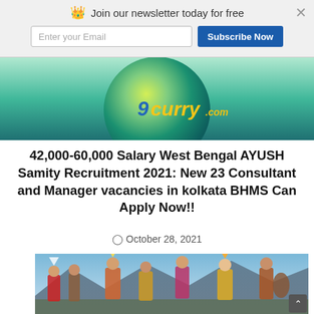Join our newsletter today for free
[Figure (logo): 9curry.com circular logo with teal/green gradient background and yellow-blue stylized text]
42,000-60,000 Salary West Bengal AYUSH Samity Recruitment 2021: New 23 Consultant and Manager vacancies in kolkata BHMS Can Apply Now!!
October 28, 2021
[Figure (photo): Group of people in traditional Indian tribal/folk costumes dancing outdoors with mountains in the background]